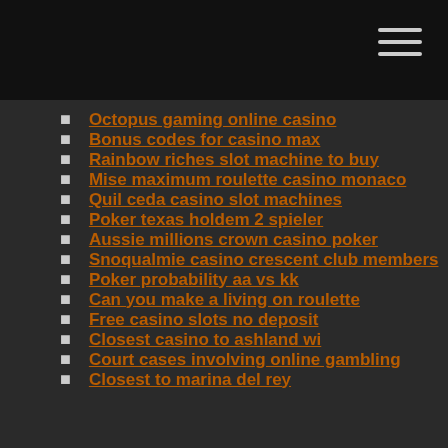Octopus gaming online casino
Bonus codes for casino max
Rainbow riches slot machine to buy
Mise maximum roulette casino monaco
Quil ceda casino slot machines
Poker texas holdem 2 spieler
Aussie millions crown casino poker
Snoqualmie casino crescent club members
Poker probability aa vs kk
Can you make a living on roulette
Free casino slots no deposit
Closest casino to ashland wi
Court cases involving online gambling
Closest to marina del rey